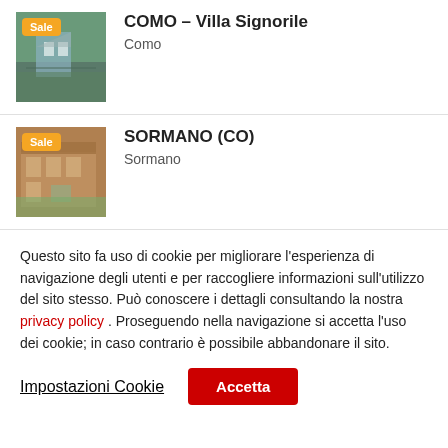[Figure (photo): Property photo of COMO Villa Signorile with Sale badge]
COMO – Villa Signorile
Como
[Figure (photo): Property photo of SORMANO (CO) with Sale badge]
SORMANO (CO)
Sormano
Questo sito fa uso di cookie per migliorare l'esperienza di navigazione degli utenti e per raccogliere informazioni sull'utilizzo del sito stesso. Può conoscere i dettagli consultando la nostra privacy policy . Proseguendo nella navigazione si accetta l'uso dei cookie; in caso contrario è possibile abbandonare il sito.
Impostazioni Cookie
Accetta